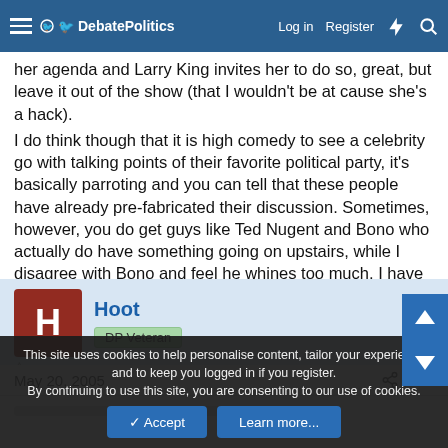DebatePolitics — Log in   Register
her agenda and Larry King invites her to do so, great, but leave it out of the show (that I wouldn't be at cause she's a hack).
I do think though that it is high comedy to see a celebrity go with talking points of their favorite political party, it's basically parroting and you can tell that these people have already pre-fabricated their discussion. Sometimes, however, you do get guys like Ted Nugent and Bono who actually do have something going on upstairs, while I disagree with Bono and feel he whines too much, I have to say that he is a critical thinker.
Hoot
DP Veteran
May 20, 2005   #15
This site uses cookies to help personalise content, tailor your experience and to keep you logged in if you register.
By continuing to use this site, you are consenting to our use of cookies.